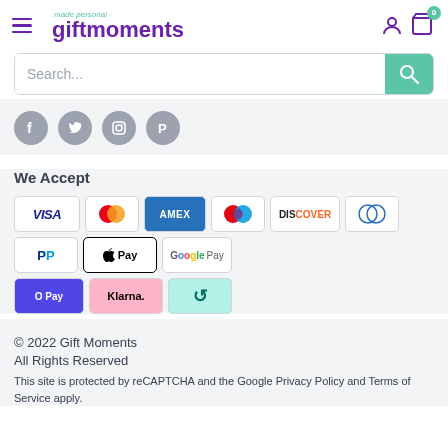[Figure (logo): Gift Moments logo with hamburger menu, user icon, and cart icon with badge 0]
[Figure (screenshot): Search bar with teal search button]
[Figure (infographic): Social media icons: Facebook, Twitter, Instagram, Pinterest]
We Accept
[Figure (infographic): Payment method icons: VISA, Mastercard, AMEX, Maestro, Discover, Diners Club, PayPal, Apple Pay, Google Pay, OPay, Klarna, Afterpay]
© 2022 Gift Moments
All Rights Reserved
This site is protected by reCAPTCHA and the Google Privacy Policy and Terms of Service apply.